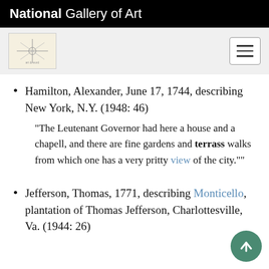National Gallery of Art
Hamilton, Alexander, June 17, 1744, describing New York, N.Y. (1948: 46)
"The Leutenant Governor had here a house and a chapell, and there are fine gardens and terrass walks from which one has a very pritty view of the city.""
Jefferson, Thomas, 1771, describing Monticello, plantation of Thomas Jefferson, Charlottesville, Va. (1944: 26)